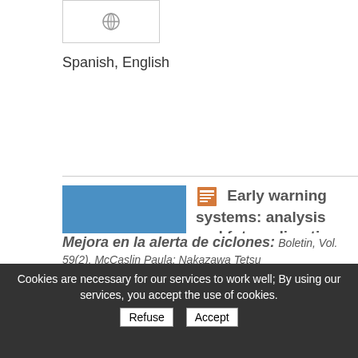[Figure (illustration): Small thumbnail with a globe/settings icon, white border on grey background]
Spanish, English
[Figure (illustration): Blue square thumbnail with stacked books/layers icon in white]
Early warning systems: analysis and future directions
Grasso Veronica; Singh Ashbindu;
2012
English
Cookies are necessary for our services to work well; By using our services, you accept the use of cookies.
Mejora en la alerta de ciclones: Boletin, Vol. 59(2). McCaslin Paula; Nakazawa Tetsu